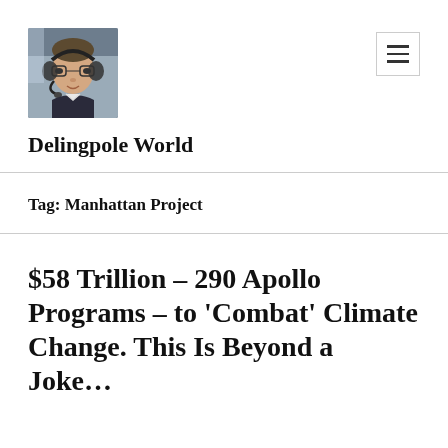[Figure (photo): Profile photo of a man wearing glasses and a headset, seated inside what appears to be an aircraft cockpit, wearing a dark jacket.]
Delingpole World
Tag: Manhattan Project
$58 Trillion – 290 Apollo Programs – to ‘Combat’ Climate Change. This Is Beyond a Joke…